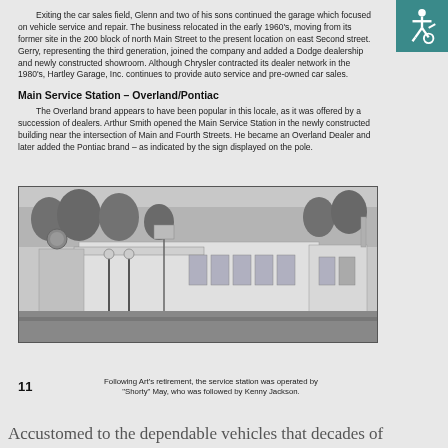Exiting the car sales field, Glenn and two of his sons continued the garage which focused on vehicle service and repair. The business relocated in the early 1960's, moving from its former site in the 200 block of north Main Street to the present location on east Second street. Gerry, representing the third generation, joined the company and added a Dodge dealership and newly constructed showroom. Although Chrysler contracted its dealer network in the 1980's, Hartley Garage, Inc. continues to provide auto service and pre-owned car sales.
Main Service Station – Overland/Pontiac
The Overland brand appears to have been popular in this locale, as it was offered by a succession of dealers. Arthur Smith opened the Main Service Station in the newly constructed building near the intersection of Main and Fourth Streets. He became an Overland Dealer and later added the Pontiac brand – as indicated by the sign displayed on the pole.
[Figure (photo): Black and white photograph of the Main Service Station building, a low commercial structure with gas pumps visible in front, trees in the background, taken in winter or early spring.]
Following Art's retirement, the service station was operated by "Shorty" May, who was followed by Kenny Jackson.
11
Accustomed to the dependable vehicles that decades of